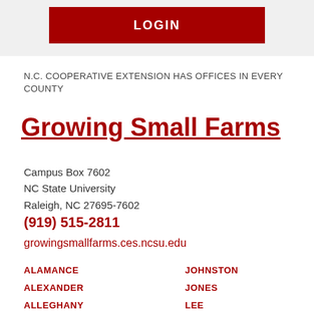LOGIN
N.C. COOPERATIVE EXTENSION HAS OFFICES IN EVERY COUNTY
Growing Small Farms
Campus Box 7602
NC State University
Raleigh, NC 27695-7602
(919) 515-2811
growingsmallfarms.ces.ncsu.edu
ALAMANCE
ALEXANDER
ALLEGHANY
ANSON
JOHNSTON
JONES
LEE
LENOIR
LINCOLN